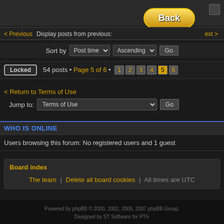[Figure (screenshot): Dark banner area at top of forum page]
Back
< Previous   Display posts from previous:   Next >
Sort by   Post time   Ascending   Go
Locked   54 posts • Page 5 of 6 • 1 2 3 4 5 6
< Return to Terms of Use
Jump to:   Terms of Use   Go
WHO IS ONLINE
Users browsing this forum: No registered users and 1 guest
Board index
The team | Delete all board cookies | All times are UTC
Powered by phpBB © 2000, 2002, 2005, 2007 phpBB Group. Designed by ST Software for PTF.